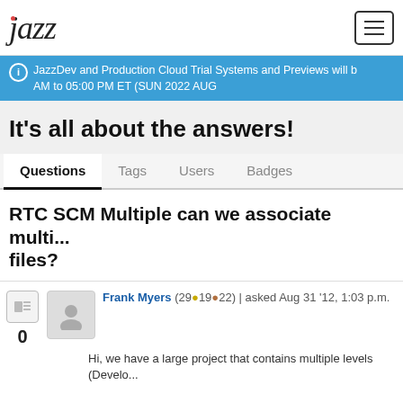[Figure (logo): Jazz logo in italic script with red dot accent]
JazzDev and Production Cloud Trial Systems and Previews will b... AM to 05:00 PM ET (SUN 2022 AUG...
It's all about the answers!
Questions  Tags  Users  Badges
RTC SCM Multiple can we associate multi... files?
Frank Myers (29●19●22) | asked Aug 31 '12, 1:03 p.m.
Hi, we have a large project that contains multiple levels (Develo...